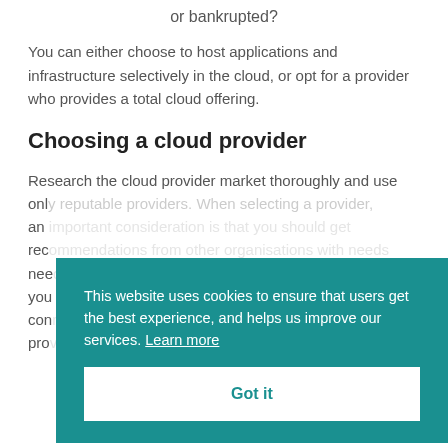or bankrupted?
You can either choose to host applications and infrastructure selectively in the cloud, or opt for a provider who provides a total cloud offering.
Choosing a cloud provider
Research the cloud provider market thoroughly and use only reputable providers. When selecting a provider, an important consideration is that you should get recommendations from other organisations with needs similar to your own. Also consider what experience you can draw on from existing staff within your company who may have knowledge of cloud providers. The provider should be ISO 27001 accredited, which will
This website uses cookies to ensure that users get the best experience, and helps us improve our services. Learn more
Got it